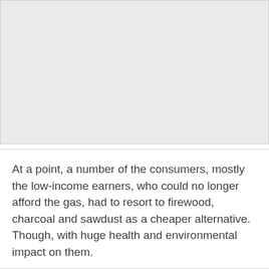[Figure (other): A light gray rectangular placeholder image occupying the upper portion of the page.]
At a point, a number of the consumers, mostly the low-income earners, who could no longer afford the gas, had to resort to firewood, charcoal and sawdust as a cheaper alternative. Though, with huge health and environmental impact on them.